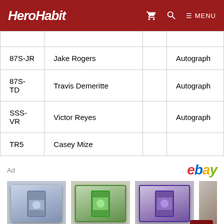HeroHabit — navigation header
| Code | Player |  | Type |
| --- | --- | --- | --- |
| 87S-JR | Jake Rogers |  | Autograph |
| 87S-TD | Travis Demeritte |  | Autograph |
| SSS-VR | Victor Reyes |  | Autograph |
| TR5 | Casey Mize |  |  |
[Figure (other): eBay advertisement section showing three baseball card product listings: DANIEL NORRIS 2021 $9.99, 2021 Panini Donruss $1.75, Miguel Cabrera 2021 $1.79]